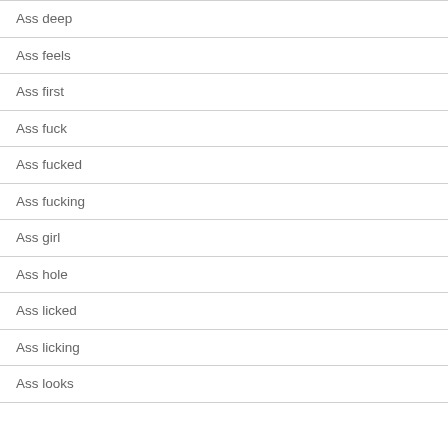Ass deep
Ass feels
Ass first
Ass fuck
Ass fucked
Ass fucking
Ass girl
Ass hole
Ass licked
Ass licking
Ass looks